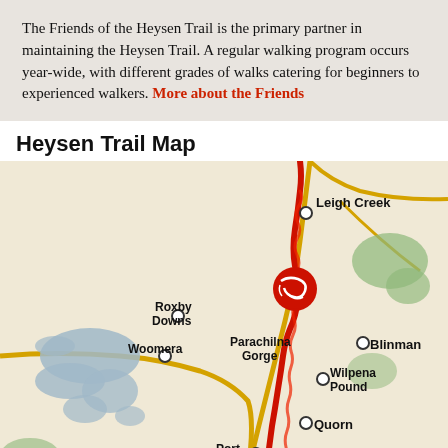The Friends of the Heysen Trail is the primary partner in maintaining the Heysen Trail. A regular walking program occurs year-wide, with different grades of walks catering for beginners to experienced walkers. More about the Friends
Heysen Trail Map
[Figure (map): Map of the Heysen Trail showing locations including Leigh Creek, Roxby Downs, Woomera, Parachilna Gorge, Blinman, Wilpena Pound, Quorn, Port Augusta. The trail is shown as a red winding line running north-south through South Australia. Blue-grey regions indicate lakes/salt flats. Yellow lines indicate roads. A red and white circular trail logo is shown near Parachilna Gorge.]